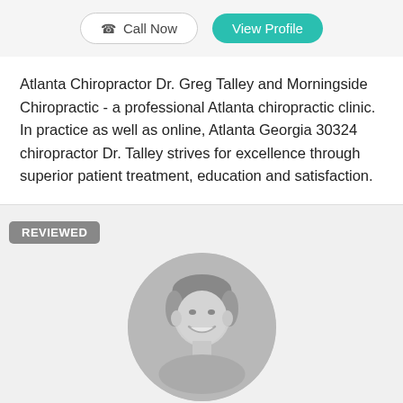[Figure (other): Two buttons: 'Call Now' (outlined, with phone icon) and 'View Profile' (teal/green filled)]
Atlanta Chiropractor Dr. Greg Talley and Morningside Chiropractic - a professional Atlanta chiropractic clinic. In practice as well as online, Atlanta Georgia 30324 chiropractor Dr. Talley strives for excellence through superior patient treatment, education and satisfaction.
REVIEWED
[Figure (photo): Black and white circular headshot photo of a smiling man (Dr. Talley) with short hair]